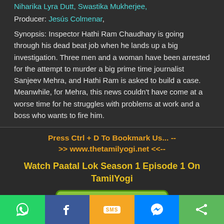Niharika Lyra Dutt, Swastika Mukherjee,
Producer: Jesús Colmenar,
Synopsis: Inspector Hathi Ram Chaudhary is going through his dead beat job when he lands up a big investigation. Three men and a woman have been arrested for the attempt to murder a big prime time journalist Sanjeev Mehra, and Hathi Ram is asked to build a case. Meanwhile, for Mehra, this news couldn't have come at a worse time for he struggles with problems at work and a boss who wants to fire him.
Press Ctrl + D To Bookmark Us... -- >> www.thetamilyogi.net <<--
Watch Paatal Lok Season 1 Episode 1 On TamilYogi
[Figure (illustration): Green PLAY NOW button with play arrow icon]
[Figure (illustration): Social media sharing bar with WhatsApp, Facebook, SMS, Messenger, and Share icons]